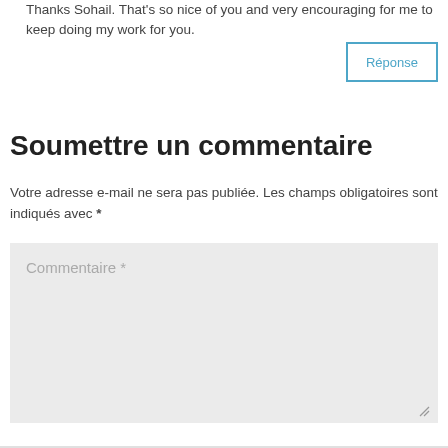Thanks Sohail. That's so nice of you and very encouraging for me to keep doing my work for you.
Réponse
Soumettre un commentaire
Votre adresse e-mail ne sera pas publiée. Les champs obligatoires sont indiqués avec *
Commentaire *